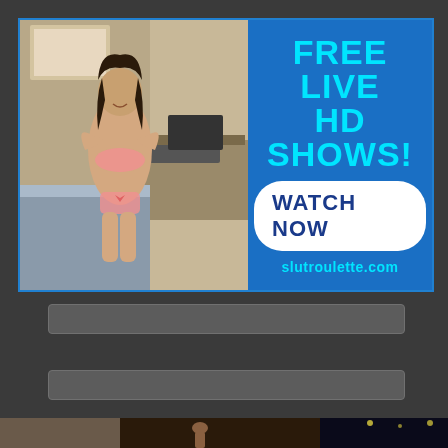[Figure (advertisement): Adult website banner advertisement with photo on left and text on right. Text reads: FREE LIVE HD SHOWS! WATCH NOW SLUTROULETTE.COM on a blue background.]
[Figure (other): Two gray input/search bar UI elements on dark gray background]
[Figure (photo): Partial view of a nighttime indoor scene with figurines or statues visible]